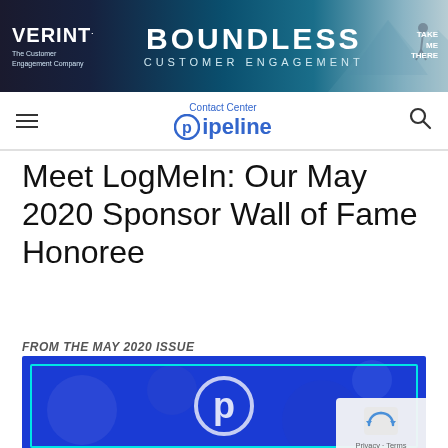[Figure (illustration): Verint advertisement banner. Dark blue background with mountain/landscape scene. Left side shows VERINT logo with tagline 'The Customer Engagement Company'. Center shows 'BOUNDLESS CUSTOMER ENGAGEMENT' text in white. Right shows person sitting on cliff. Text 'TAKE ME THERE' in top right.]
Contact Center Pipeline
Meet LogMeIn: Our May 2020 Sponsor Wall of Fame Honoree
FROM THE MAY 2020 ISSUE
[Figure (illustration): Blue background image with Contact Center Pipeline logo (circular 'p' icon) centered. Teal/cyan border rectangle inside. Bottom right shows a Google reCAPTCHA/Privacy badge with arrow icon and 'Privacy · Terms' text.]